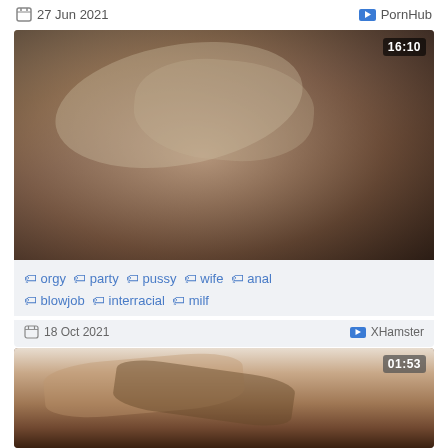27 Jun 2021    PornHub
[Figure (photo): Video thumbnail showing a blonde woman on a couch, duration 16:10]
🏷 orgy 🏷 party 🏷 pussy 🏷 wife 🏷 anal 🏷 blowjob 🏷 interracial 🏷 milf
18 Oct 2021    XHamster
[Figure (photo): Video thumbnail showing close-up of hands, duration 01:53]